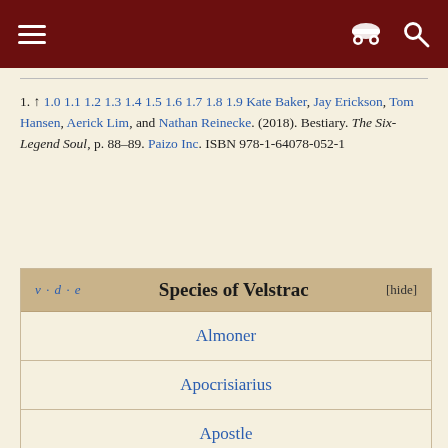Navigation header with menu, incognito, and search icons
1. ↑ 1.0 1.1 1.2 1.3 1.4 1.5 1.6 1.7 1.8 1.9 Kate Baker, Jay Erickson, Tom Hansen, Aerick Lim, and Nathan Reinecke. (2018). Bestiary. The Six-Legend Soul, p. 88–89. Paizo Inc. ISBN 978-1-64078-052-1
| v · d · e | Species of Velstrac | [hide] |
| --- | --- | --- |
| Almoner |
| Apocrisiarius |
| Apostle |
| Augur |
| Cantor |